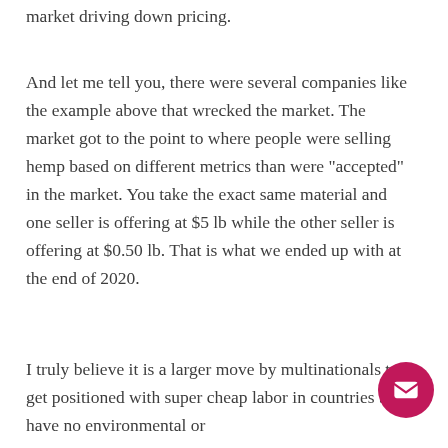market driving down pricing.
And let me tell you, there were several companies like the example above that wrecked the market. The market got to the point to where people were selling hemp based on different metrics than were "accepted" in the market. You take the exact same material and one seller is offering at $5 lb while the other seller is offering at $0.50 lb. That is what we ended up with at the end of 2020.
I truly believe it is a larger move by multinationals to get positioned with super cheap labor in countries that have no environmental or